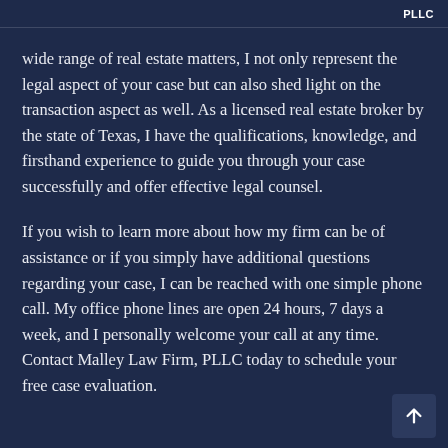PLLC
wide range of real estate matters, I not only represent the legal aspect of your case but can also shed light on the transaction aspect as well. As a licensed real estate broker by the state of Texas, I have the qualifications, knowledge, and firsthand experience to guide you through your case successfully and offer effective legal counsel.
If you wish to learn more about how my firm can be of assistance or if you simply have additional questions regarding your case, I can be reached with one simple phone call. My office phone lines are open 24 hours, 7 days a week, and I personally welcome your call at any time. Contact Malley Law Firm, PLLC today to schedule your free case evaluation.